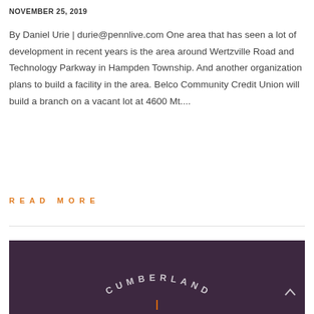NOVEMBER 25, 2019
By Daniel Urie | durie@pennlive.com One area that has seen a lot of development in recent years is the area around Wertzville Road and Technology Parkway in Hampden Township. And another organization plans to build a facility in the area. Belco Community Credit Union will build a branch on a vacant lot at 4600 Mt....
READ MORE
[Figure (logo): Dark purple background with curved 'CUMBERLAND' text logo and a scroll-up arrow icon in the bottom right corner]